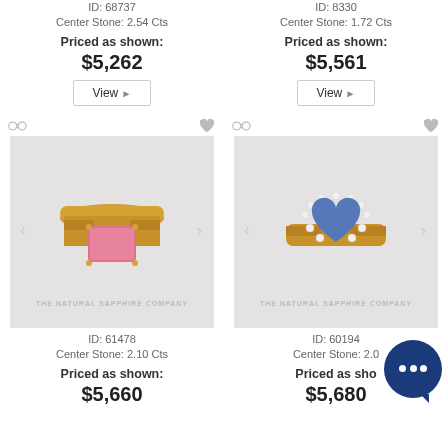ID: 68737
Center Stone: 2.54 Cts
Priced as shown:
$5,262
ID: 8330
Center Stone: 1.72 Cts
Priced as shown:
$5,561
[Figure (photo): Gold ring with pink rectangular gemstone center stone]
ID: 61478
Center Stone: 2.10 Cts
Priced as shown:
$5,660
[Figure (photo): Gold ring with blue heart-shaped sapphire center stone surrounded by diamond halo]
ID: 60194
Center Stone: 2.0...
Priced as sho...
$5,680